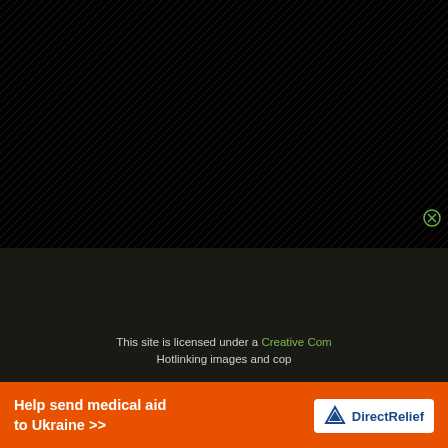[Figure (screenshot): Black area with diagonal texture lines filling the upper portion of the page, with a small green circle icon in the lower-right corner of the black section]
This site is licensed under a Creative Com... Hotlinking images and cop...
Help send medical aid to Ukraine >> Direct Relief